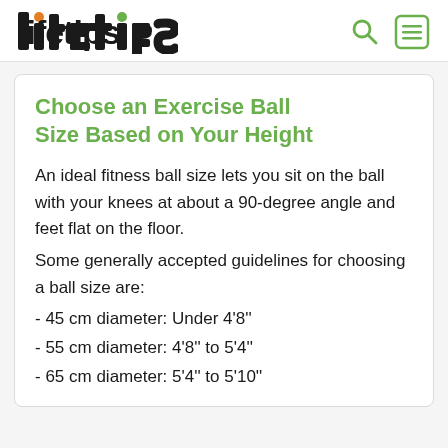lifetips
Choose an Exercise Ball Size Based on Your Height
An ideal fitness ball size lets you sit on the ball with your knees at about a 90-degree angle and feet flat on the floor. Some generally accepted guidelines for choosing a ball size are:
- 45 cm diameter: Under 4'8"
- 55 cm diameter: 4'8" to 5'4"
- 65 cm diameter: 5'4" to 5'10"